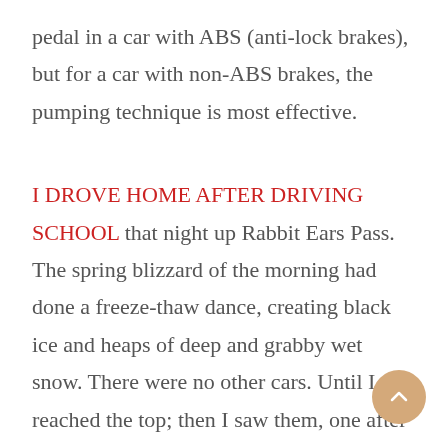pedal in a car with ABS (anti-lock brakes), but for a car with non-ABS brakes, the pumping technique is most effective.
I DROVE HOME AFTER DRIVING SCHOOL that night up Rabbit Ears Pass. The spring blizzard of the morning had done a freeze-thaw dance, creating black ice and heaps of deep and grabby wet snow. There were no other cars. Until I reached the top; then I saw them, one after the other. Cars off the